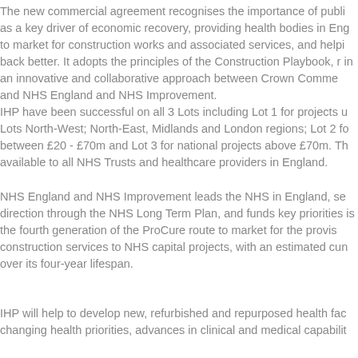The new commercial agreement recognises the importance of public procurement as a key driver of economic recovery, providing health bodies in England with a route to market for construction works and associated services, and helping the NHS to build back better. It adopts the principles of the Construction Playbook, resulting in an innovative and collaborative approach between Crown Commercial Service and NHS England and NHS Improvement.
IHP have been successful on all 3 Lots including Lot 1 for projects under £20m across Lots North-West; North-East, Midlands and London regions; Lot 2 for projects between £20 - £70m and Lot 3 for national projects above £70m. The framework is available to all NHS Trusts and healthcare providers in England.
NHS England and NHS Improvement leads the NHS in England, setting the direction through the NHS Long Term Plan, and funds key priorities. P23 is the fourth generation of the ProCure route to market for the provision of construction services to NHS capital projects, with an estimated cumulative value of £2.8bn over its four-year lifespan.
IHP will help to develop new, refurbished and repurposed health facilities to meet changing health priorities, advances in clinical and medical capabilities